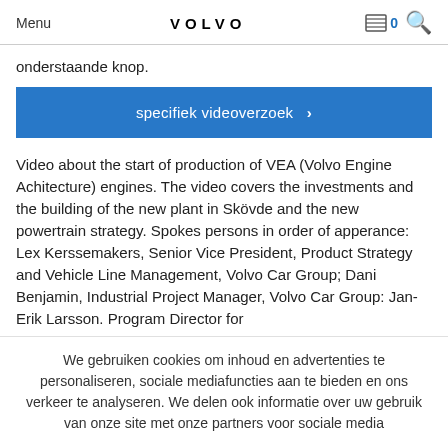Menu  VOLVO  0
onderstaande knop.
specifiek videoverzoek  >
Video about the start of production of VEA (Volvo Engine Achitecture) engines. The video covers the investments and the building of the new plant in Skövde and the new powertrain strategy. Spokes persons in order of apperance: Lex Kerssemakers, Senior Vice President, Product Strategy and Vehicle Line Management, Volvo Car Group; Dani Benjamin, Industrial Project Manager, Volvo Car Group: Jan-Erik Larsson. Program Director for
We gebruiken cookies om inhoud en advertenties te personaliseren, sociale mediafuncties aan te bieden en ons verkeer te analyseren. We delen ook informatie over uw gebruik van onze site met onze partners voor sociale media